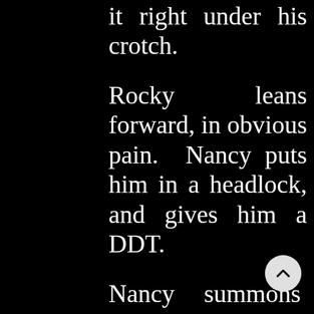it right under his crotch.
Rocky leans forward, in obvious pain. Nancy puts him in a headlock, and gives him a DDT.
Nancy summons the strength to lift Rocky up by his hair, and drag him over to the corner turnbuckle, where she rams his head into the top turnbuckle. She